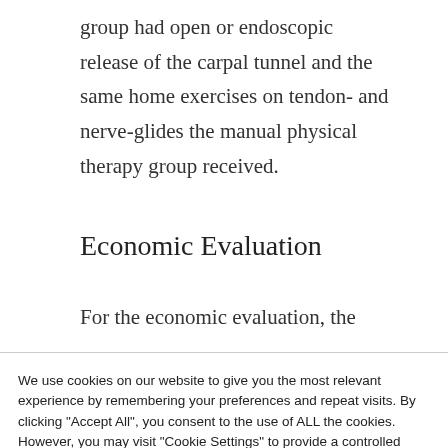group had open or endoscopic release of the carpal tunnel and the same home exercises on tendon- and nerve-glides the manual physical therapy group received.
Economic Evaluation
For the economic evaluation, the
We use cookies on our website to give you the most relevant experience by remembering your preferences and repeat visits. By clicking "Accept All", you consent to the use of ALL the cookies. However, you may visit "Cookie Settings" to provide a controlled consent.